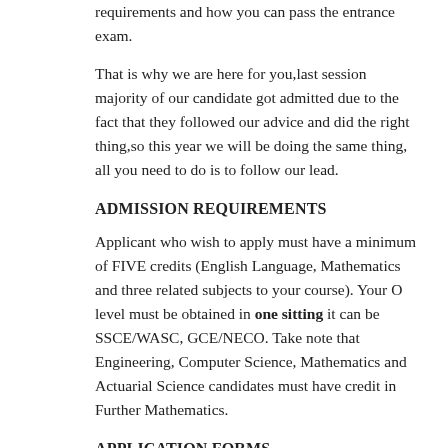requirements and how you can pass the entrance exam.
That is why we are here for you,last session majority of our candidate got admitted due to the fact that they followed our advice and did the right thing,so this year we will be doing the same thing, all you need to do is to follow our lead.
ADMISSION REQUIREMENTS
Applicant who wish to apply must have a minimum of FIVE credits (English Language, Mathematics and three related subjects to your course). Your O level must be obtained in one sitting it can be SSCE/WASC, GCE/NECO. Take note that Engineering, Computer Science, Mathematics and Actuarial Science candidates must have credit in Further Mathematics.
APPLICATION FORMS
All candidates must generate a reference number from the diploma website click here to generate reference number after generating the reference number print-